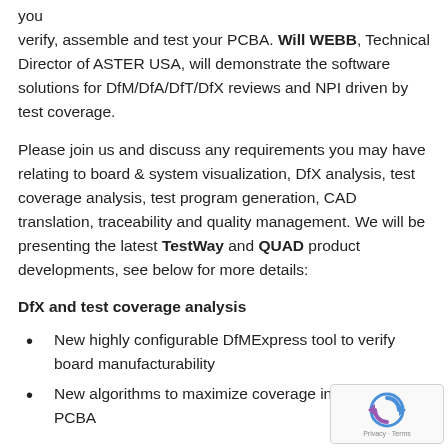you verify, assemble and test your PCBA. Will WEBB, Technical Director of ASTER USA, will demonstrate the software solutions for DfM/DfA/DfT/DfX reviews and NPI driven by test coverage.
Please join us and discuss any requirements you may have relating to board & system visualization, DfX analysis, test coverage analysis, test program generation, CAD translation, traceability and quality management. We will be presenting the latest TestWay and QUAD product developments, see below for more details:
DfX and test coverage analysis
New highly configurable DfMExpress tool to verify board manufacturability
New algorithms to maximize coverage in high density PCBA